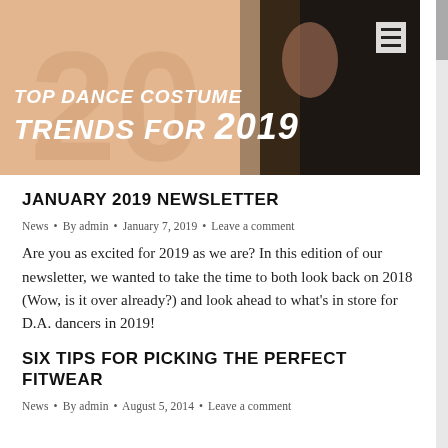[Figure (photo): Hero banner image showing dance costume trends for 2019. Text overlay reads 'TOP DANCE COSTUME TRENDS FOR 2019' in bold italic white uppercase letters. Background is a peach/tan gradient with a dancer in a dark costume visible on the right side.]
JANUARY 2019 NEWSLETTER
News • By admin • January 7, 2019 • Leave a comment
Are you as excited for 2019 as we are? In this edition of our newsletter, we wanted to take the time to both look back on 2018 (Wow, is it over already?) and look ahead to what's in store for D.A. dancers in 2019!
SIX TIPS FOR PICKING THE PERFECT FITWEAR
News • By admin • August 5, 2014 • Leave a comment